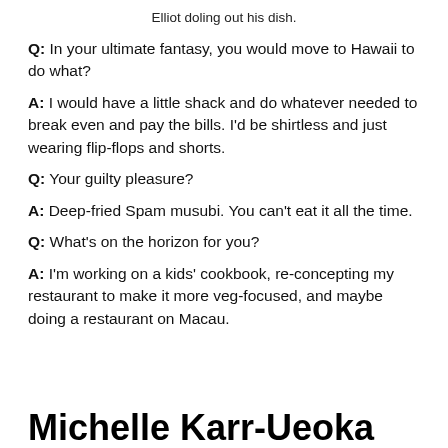Elliot doling out his dish.
Q: In your ultimate fantasy, you would move to Hawaii to do what?
A: I would have a little shack and do whatever needed to break even and pay the bills. I'd be shirtless and just wearing flip-flops and shorts.
Q: Your guilty pleasure?
A: Deep-fried Spam musubi. You can’t eat it all the time.
Q: What’s on the horizon for you?
A: I’m working on a kids’ cookbook, re-concepting my restaurant to make it more veg-focused, and maybe doing a restaurant on Macau.
Michelle Karr-Ueoka